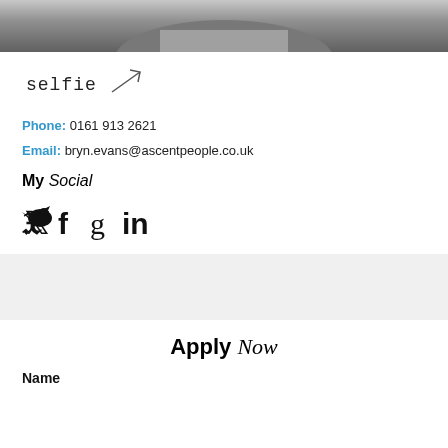[Figure (photo): Black and white photo of a man in a suit, cropped to show torso/chest, at top of page]
[Figure (logo): Selfie brand logo with handwritten-style text and an upward arrow]
Phone: 0161 913 2621
Email: bryn.evans@ascentpeople.co.uk
My Social
[Figure (infographic): Social media icons: Twitter bird, Facebook f, Google+ g, LinkedIn in]
[Figure (other): Gray background band/section divider]
Apply Now
Name